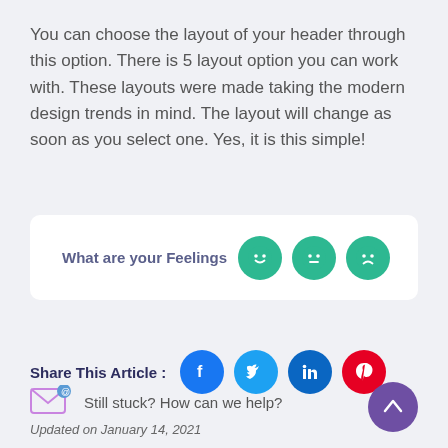You can choose the layout of your header through this option. There is 5 layout option you can work with. These layouts were made taking the modern design trends in mind. The layout will change as soon as you select one. Yes, it is this simple!
[Figure (infographic): Feelings widget box with label 'What are your Feelings' and three green emoji circles: happy, neutral, sad]
[Figure (infographic): Share This Article section with Facebook, Twitter, LinkedIn, and Pinterest circular icons]
[Figure (infographic): Help link with email icon and text 'Still stuck? How can we help?' and purple scroll-to-top arrow button]
Updated on January 14, 2021